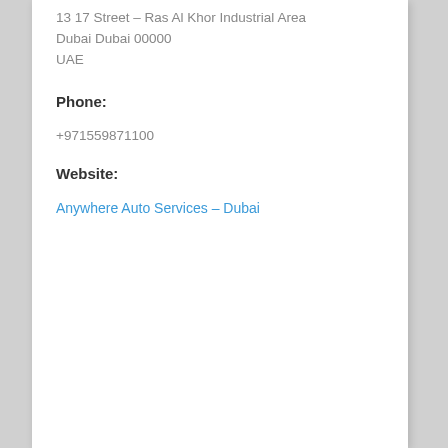13 17 Street – Ras Al Khor Industrial Area
Dubai Dubai 00000
UAE
Phone:
+971559871100
Website:
Anywhere Auto Services – Dubai